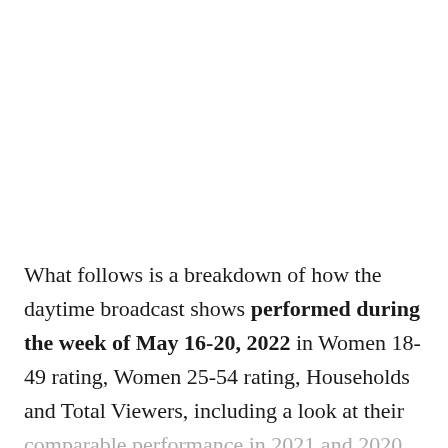What follows is a breakdown of how the daytime broadcast shows performed during the week of May 16-20, 2022 in Women 18-49 rating, Women 25-54 rating, Households and Total Viewers, including a look at their comparable performance in 2021 and 2020, respectively. A closer look at the daytime soaps, including their daily